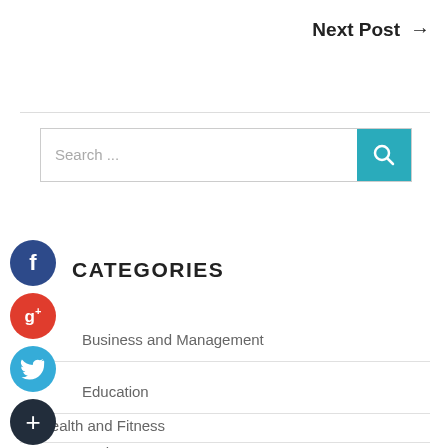Next Post →
[Figure (screenshot): Search bar with teal search button and magnifying glass icon]
CATEGORIES
[Figure (illustration): Social media icons: Facebook (blue circle), Google+ (red circle), Twitter (light blue circle), Plus/Add (dark circle)]
Business and Management
Education
Health and Fitness
Home and Garden (partial)